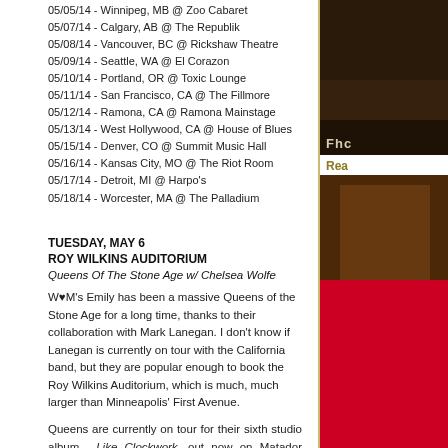05/05/14 - Winnipeg, MB @ Zoo Cabaret
05/07/14 - Calgary, AB @ The Republik
05/08/14 - Vancouver, BC @ Rickshaw Theatre
05/09/14 - Seattle, WA @ El Corazon
05/10/14 - Portland, OR @ Toxic Lounge
05/11/14 - San Francisco, CA @ The Fillmore
05/12/14 - Ramona, CA @ Ramona Mainstage
05/13/14 - West Hollywood, CA @ House of Blues
05/15/14 - Denver, CO @ Summit Music Hall
05/16/14 - Kansas City, MO @ The Riot Room
05/17/14 - Detroit, MI @ Harpo's
05/18/14 - Worcester, MA @ The Palladium
TUESDAY, MAY 6
ROY WILKINS AUDITORIUM
Queens Of The Stone Age w/ Chelsea Wolfe
W♥M's Emily has been a massive Queens of the Stone Age for a long time, thanks to their collaboration with Mark Lanegan. I don't know if Lanegan is currently on tour with the California band, but they are popular enough to book the Roy Wilkins Auditorium, which is much, much larger than Minneapolis' First Avenue.
Queens are currently on tour for their sixth studio album ...Like Clockwork, out now on Matador Records.
[Figure (photo): Dark photo with FhC label overlay]
Rea
[Figure (photo): Dark brown photo with J label overlay]
[Figure (illustration): Red block/banner element]